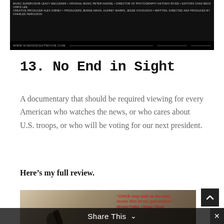[Figure (photo): Dark film poster/banner for 'No End in Sight' documentary with small white credits text and URL bar at bottom on black background]
13. No End in Sight
A documentary that should be required viewing for every American who watches the news, or who cares about U.S. troops, or who will be voting for our next president.
Here’s my full review.
[Figure (photo): Movie poster for 'Once' showing two figures on a street, with red text quote: 'ONCE may well be the best music film of our generation.' - Michael Phillips, Chicago Tribune]
Share This